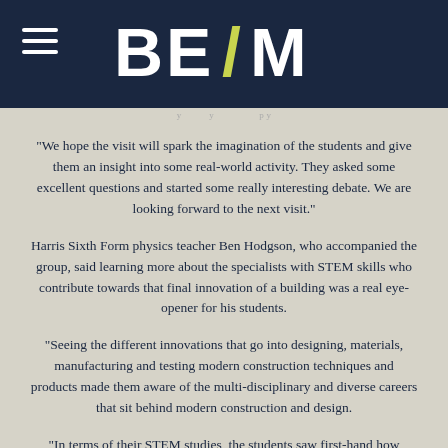BEAM
“We hope the visit will spark the imagination of the students and give them an insight into some real-world activity. They asked some excellent questions and started some really interesting debate. We are looking forward to the next visit.”
Harris Sixth Form physics teacher Ben Hodgson, who accompanied the group, said learning more about the specialists with STEM skills who contribute towards that final innovation of a building was a real eye-opener for his students.
“Seeing the different innovations that go into designing, materials, manufacturing and testing modern construction techniques and products made them aware of the multi-disciplinary and diverse careers that sit behind modern construction and design.
“In terms of their STEM studies, the students saw first-hand how innovation in design, technology – and the science